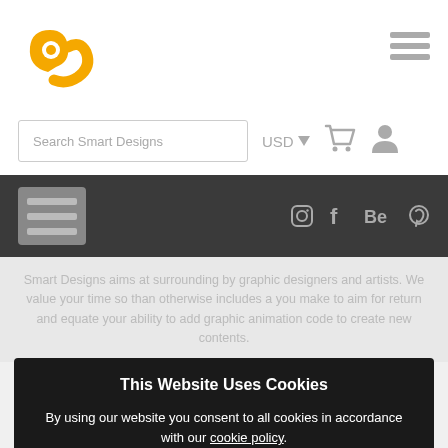[Figure (logo): Orange stylized hand/OK gesture logo mark for Smart Designs]
[Figure (other): Hamburger menu icon (three horizontal lines) in top right corner]
Search Smart Designs
USD ▾
[Figure (other): Shopping cart icon]
[Figure (other): User/person icon]
[Figure (other): Dark nav bar with menu icon and social media icons: Instagram, Facebook, Behance, Pinterest]
Smart Designs aims at surrounding by graphic designers and artists. We value your time so than otherwise includes a you make to aim for return and equate your ability to add graphic animation code to create new contents.
This Website Uses Cookies
By using our website you consent to all cookies in accordance with our cookie policy.